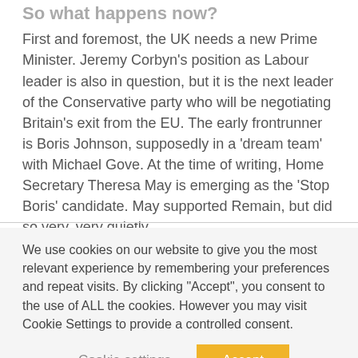So what happens now?
First and foremost, the UK needs a new Prime Minister. Jeremy Corbyn's position as Labour leader is also in question, but it is the next leader of the Conservative party who will be negotiating Britain's exit from the EU. The early frontrunner is Boris Johnson, supposedly in a 'dream team' with Michael Gove. At the time of writing, Home Secretary Theresa May is emerging as the 'Stop Boris' candidate. May supported Remain, but did so very, very quietly.
We use cookies on our website to give you the most relevant experience by remembering your preferences and repeat visits. By clicking "Accept", you consent to the use of ALL the cookies. However you may visit Cookie Settings to provide a controlled consent.